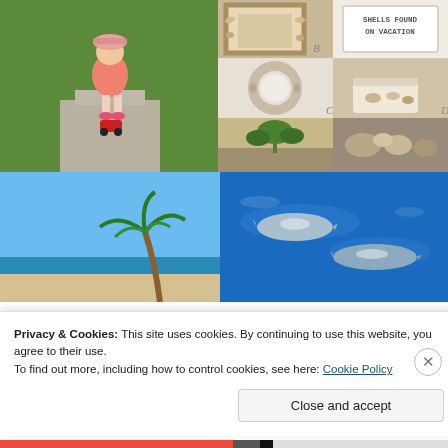[Figure (photo): Toddler girl in pink dress and floral hat standing on a stone pathway on grass, with toy car]
[Figure (photo): Frame decorated with shells, letter B visible]
[Figure (photo): Text: SHELLS FOUND ON VACATION in a white card/box]
[Figure (photo): Shell wreath on white background, letter C]
[Figure (photo): Shells in a white container, letter D]
[Figure (photo): Interior room with tropical plants]
[Figure (photo): Shells and sea objects]
[Figure (photo): Blue sky with palm tree at beach]
[Figure (photo): Aerial view of dolphins swimming in blue water]
Privacy & Cookies: This site uses cookies. By continuing to use this website, you agree to their use.
To find out more, including how to control cookies, see here: Cookie Policy
Close and accept